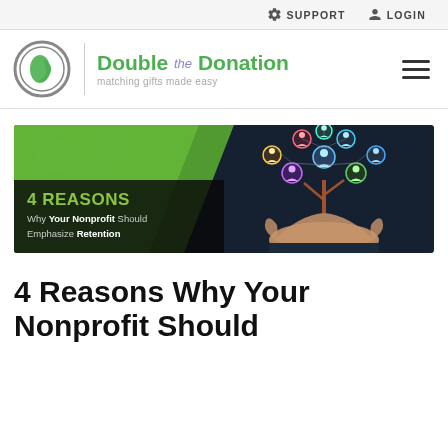SUPPORT  LOGIN
[Figure (logo): Double the Donation logo — circular D icon in grey and green, text 'Double the Donation' in green with italic 'the', tagline 'matching gifts made easy' in grey]
[Figure (illustration): Banner image: dark blue background with green diagonal stripe, black overlay text area reading '4 REASONS Why Your Nonprofit Should Emphasize Retention', and on the right a person holding a glowing network tree of people icons]
4 Reasons Why Your Nonprofit Should